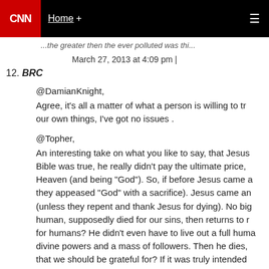CNN | Home +
...the greater then the ever polluted was this...
March 27, 2013 at 4:09 pm |
12. BRC
@DamianKnight,
Agree, it's all a matter of what a person is willing to tr our own things, I've got no issues .

@Topher,
An interesting take on what you like to say, that Jesus Bible was true, he really didn't pay the ultimate price, Heaven (and being "God"). So, if before Jesus came a they appeased "God" with a sacrifice). Jesus came an (unless they repent and thank Jesus for dying). No big human, supposedly died for our sins, then returns to r for humans? He didn't even have to live out a full huma divine powers and a mass of followers. Then he dies, that we should be grateful for? If it was truly intended Jesus, that portion of "God" that he sent to Earth to be